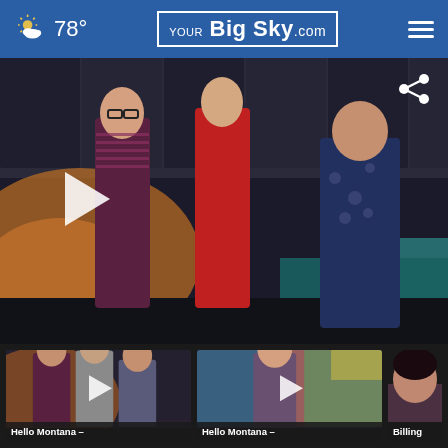78° | YourBigSky.com
[Figure (screenshot): Main video thumbnail showing three people standing on a TV studio set with colorful backdrop. A woman in a floral dress speaks on the right, a man in a striped polo and a woman in red dress stand on the left. A large play button overlay is visible.]
[Figure (screenshot): Thumbnail 1: Hello Montana – video thumbnail showing group of people in a TV studio with play button overlay.]
Hello Montana –
[Figure (screenshot): Thumbnail 2: Hello Montana – video thumbnail showing a woman in a colorful art studio with play button overlay.]
Hello Montana –
[Figure (screenshot): Thumbnail 3: Billing – video thumbnail showing a woman with dark hair (partially cropped).]
Billing